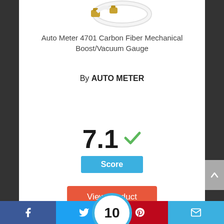[Figure (photo): Product image of Auto Meter 4701 Carbon Fiber Mechanical Boost/Vacuum Gauge with brass fittings and white hose, partially visible at top]
Auto Meter 4701 Carbon Fiber Mechanical Boost/Vacuum Gauge
By AUTO METER
View Product
7.1 ✓
Score
10